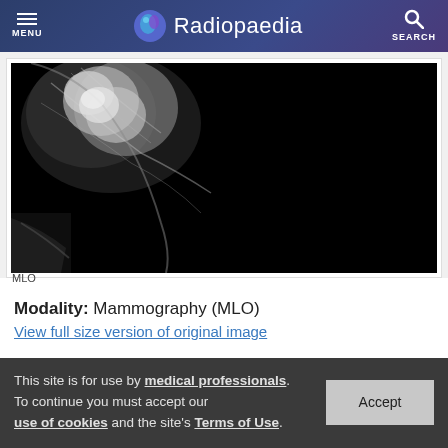MENU  Radiopaedia  SEARCH
[Figure (photo): Mammography MLO view showing breast tissue — grayscale X-ray image with predominantly dark background and bright fibroglandular tissue visible in upper-left area.]
MLO
Modality: Mammography (MLO)
View full size version of original image
This site is for use by medical professionals. To continue you must accept our use of cookies and the site's Terms of Use.